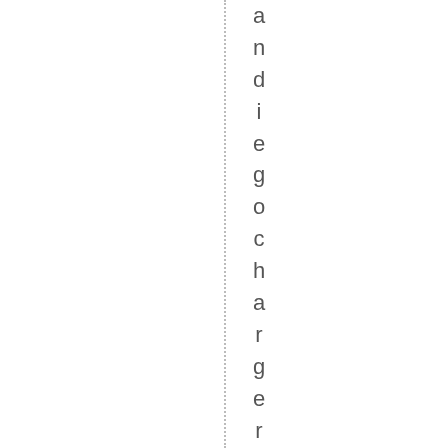and die gochargers ,schreier ,+